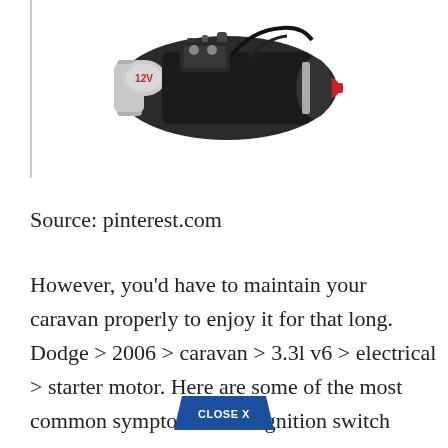[Figure (photo): A 12V starter motor component, black and silver, with a red-tipped connector, photographed against a white background.]
Source: pinterest.com
However, you'd have to maintain your caravan properly to enjoy it for that long. Dodge > 2006 > caravan > 3.3l v6 > electrical > starter motor. Here are some of the most common symptoms of an ignition switch